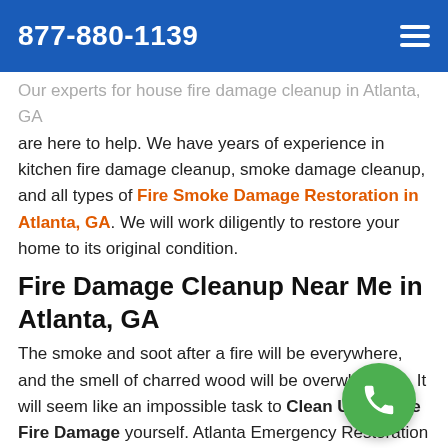877-880-1139
Our experts for house fire damage cleanup in Atlanta, GA are here to help. We have years of experience in kitchen fire damage cleanup, smoke damage cleanup, and all types of Fire Smoke Damage Restoration in Atlanta, GA. We will work diligently to restore your home to its original condition.
Fire Damage Cleanup Near Me in Atlanta, GA
The smoke and soot after a fire will be everywhere, and the smell of charred wood will be overwhelming. It will seem like an impossible task to Clean Up All The Fire Damage yourself. Atlanta Emergency Restoration One is here to help you with Fire Damage Cleanup Near Me in Atlanta, GA. We are a professional fire damage cleanup company that can take care of everything for you. We will clean up the mess, remove all the smoke and soot, and restore your